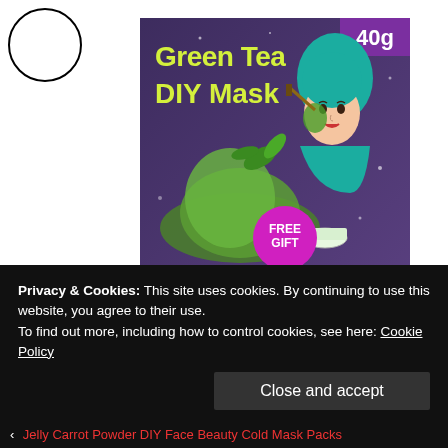[Figure (illustration): Green Tea DIY Mask product image showing a woman applying face mask, green tea powder/leaves, with '40g' label and 'FREE GIFT' badge on a dark purple/sparkle background]
Aggregate Rating
no rating based on 0 votes
Product Name
Jelly Hii Matcha Powder DIY F...
Privacy & Cookies: This site uses cookies. By continuing to use this website, you agree to their use.
To find out more, including how to control cookies, see here: Cookie Policy
Close and accept
Jelly Carrot Powder DIY Face Beauty Cold Mask Packs